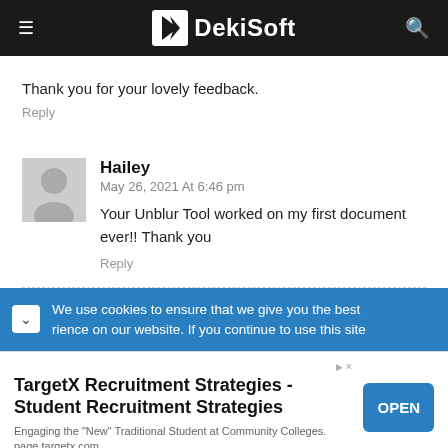DekiSoft
Thank you for your lovely feedback.
Reply
Hailey
May 26, 2021 At 6:46 pm
Your Unblur Tool worked on my first document ever!! Thank you
Reply
We use cookies to ensure that we give you the best rience on our website. If you continue to use this site
TargetX Recruitment Strategies - Student Recruitment Strategies
Engaging the "New" Traditional Student at Community Colleges. page.targetx.com